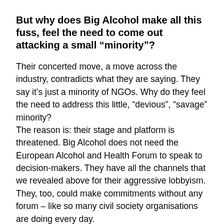But why does Big Alcohol make all this fuss, feel the need to come out attacking a small “minority”?
Their concerted move, a move across the industry, contradicts what they are saying. They say it’s just a minority of NGOs. Why do they feel the need to address this little, “devious”, “savage” minority?
The reason is: their stage and platform is threatened. Big Alcohol does not need the European Alcohol and Health Forum to speak to decision-makers. They have all the channels that we revealed above for their aggressive lobbyism. They, too, could make commitments without any forum – like so many civil society organisations are doing every day.